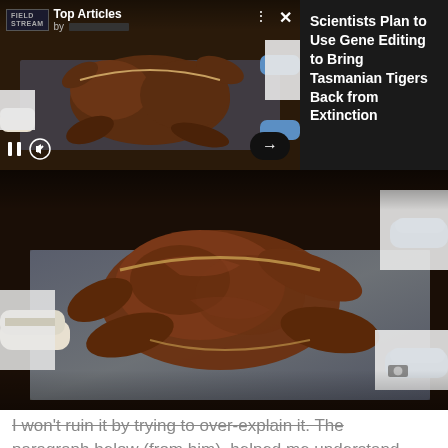[Figure (screenshot): Top panel with video thumbnail showing scientists in white lab coats and blue gloves examining a mummified animal specimen on a metallic surface. Field & Stream logo with 'Top Articles by [redacted]' text overlay, pause and mute controls at bottom left, arrow button at bottom right, dots and X icons at top right.]
Scientists Plan to Use Gene Editing to Bring Tasmanian Tigers Back from Extinction
[Figure (photo): Large photo of scientists in white lab coats, one with white gloves and one with blue gloves, examining a dark brown mummified animal (likely a Tasmanian tiger or similar extinct creature) laid out on a reflective metallic/plastic surface.]
I won't ruin it by trying to over-explain it. The paragraph below (from him), helped me understand